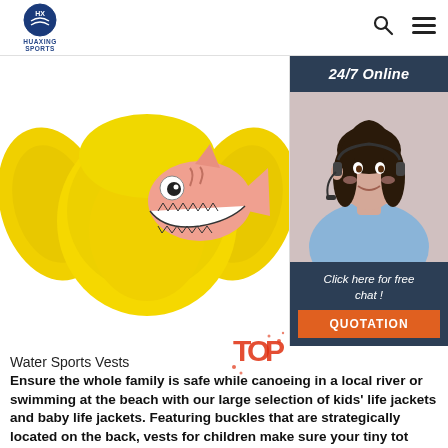HUAXING SPORTS
[Figure (photo): Yellow children's water sports life vest/puddle jumper with pink shark cartoon illustration on the front, shown against white background]
[Figure (photo): 24/7 Online chat sidebar with photo of smiling female customer service agent wearing headset, dark blue header reading '24/7 Online', dark blue footer with italic text 'Click here for free chat!' and orange QUOTATION button]
Water Sports Vests
Ensure the whole family is safe while canoeing in a local river or swimming at the beach with our large selection of kids' life jackets and baby life jackets. Featuring buckles that are strategically located on the back, vests for children make sure your tiny tot keeps his or her life vest on, even